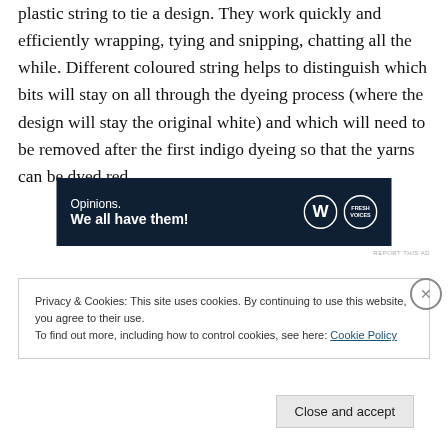plastic string to tie a design. They work quickly and efficiently wrapping, tying and snipping, chatting all the while. Different coloured string helps to distinguish which bits will stay on all through the dyeing process (where the design will stay the original white) and which will need to be removed after the first indigo dyeing so that the yarns can be dyed red.
[Figure (other): Advertisement banner with dark navy background. Left side shows text: 'Opinions. We all have them!' in white. Right side shows WordPress logo (white circle with W) and Fresh Voices/FW logo (white circle with text).]
REPORT THIS AD
Privacy & Cookies: This site uses cookies. By continuing to use this website, you agree to their use.
To find out more, including how to control cookies, see here: Cookie Policy
Close and accept